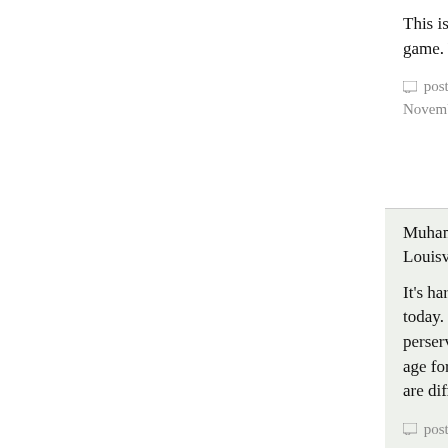This is great: the original spirit of the game. You can't be a ball hog here.
posted by tadley86 at 08:07 AM on November 22, 2005
Muhammed Ali feels the love of Louisville
It's hard to pick a role model in sports today. There isn't a whole lot of perservering to be done in this day and age for top athletes at any level. Times are different than 40-50 years ago.
posted by tadley86 at 02:46